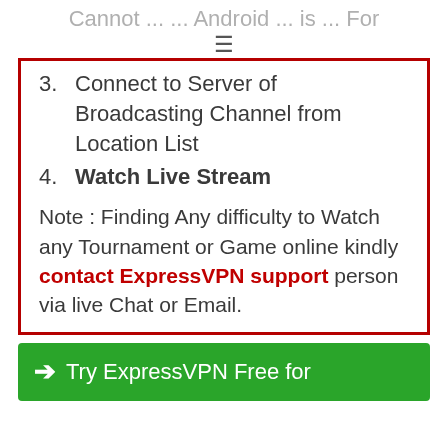Cannot ... (truncated) ... Android ... is ... For
3. Connect to Server of Broadcasting Channel from Location List
4. Watch Live Stream
Note : Finding Any difficulty to Watch any Tournament or Game online kindly contact ExpressVPN support person via live Chat or Email.
→ Try ExpressVPN Free for